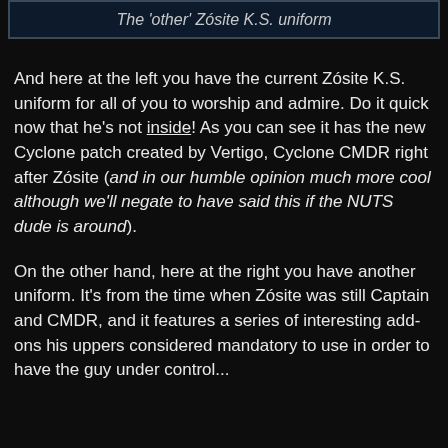The 'other' Zósite K.S. uniform
And here at the left you have the current Zósite K.S. uniform for all of you to worship and admire. Do it quick now that he's not inside! As you can see it has the new Cyclone patch created by Vertigo, Cyclone CMDR right after Zósite (and in our humble opinion much more cool although we'll negate to have said this if the NUTS dude is around).
On the other hand, here at the right you have another uniform. It's from the time when Zósite was still Captain and CMDR, and it features a series of interesting add-ons his uppers considered mandatory to use in order to have the guy under control...